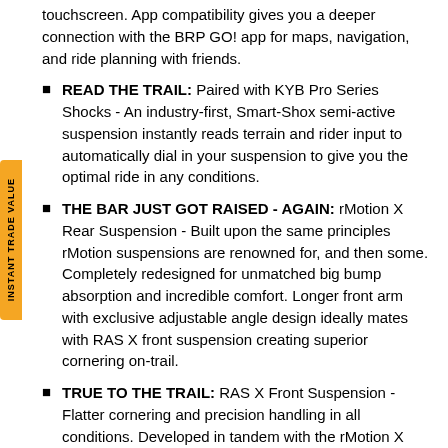touchscreen. App compatibility gives you a deeper connection with the BRP GO! app for maps, navigation, and ride planning with friends.
READ THE TRAIL: Paired with KYB Pro Series Shocks - An industry-first, Smart-Shox semi-active suspension instantly reads terrain and rider input to automatically dial in your suspension to give you the optimal ride in any conditions.
THE BAR JUST GOT RAISED - AGAIN: rMotion X Rear Suspension - Built upon the same principles rMotion suspensions are renowned for, and then some. Completely redesigned for unmatched big bump absorption and incredible comfort. Longer front arm with exclusive adjustable angle design ideally mates with RAS X front suspension creating superior cornering on-trail.
TRUE TO THE TRAIL: RAS X Front Suspension - Flatter cornering and precision handling in all conditions. Developed in tandem with the rMotion X rear suspension to raise the bar in trail snowmobile chassis performance. Wider, adjustable ski stance and +10mm